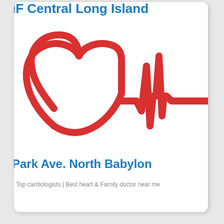IF Central Long Island
[Figure (illustration): Red heart shape combined with a red ECG/heartbeat line waveform on white background]
Park Ave. North Babylon
Top cardiologists | Best heart & Family doctor near me